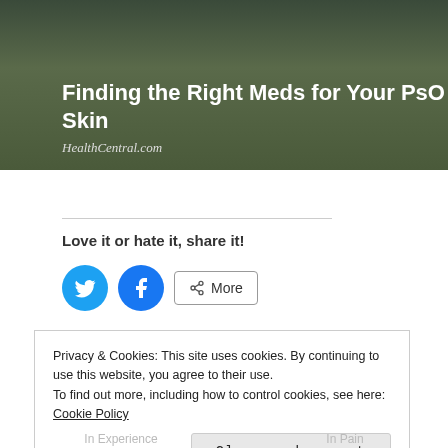[Figure (photo): Dark green/brown background banner image showing a hand/skin, with article title overlay]
Finding the Right Meds for Your PsO Skin
HealthCentral.com
Love it or hate it, share it!
[Figure (infographic): Social share buttons: Twitter (blue circle with bird icon), Facebook (blue circle with f icon), and More button with share icon]
Loading…
Privacy & Cookies: This site uses cookies. By continuing to use this website, you agree to their use.
To find out more, including how to control cookies, see here: Cookie Policy
Close and accept
In Experience    In Pain